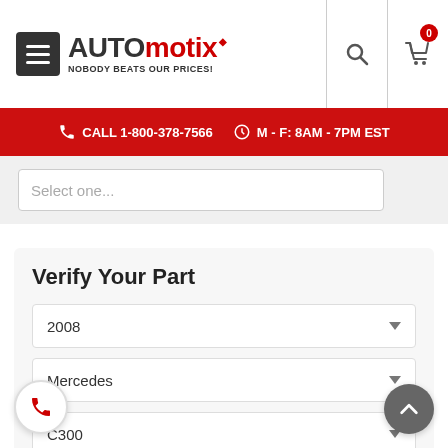AUTOMOTIX — NOBODY BEATS OUR PRICES! CALL 1-800-378-7566  M - F: 8AM - 7PM EST
[Figure (screenshot): Automotix website header with logo, hamburger menu, search icon, cart icon with badge 0, and red call bar showing CALL 1-800-378-7566 and M - F: 8AM - 7PM EST]
Verify Your Part
2008
Mercedes
C300
Power Brake Booster